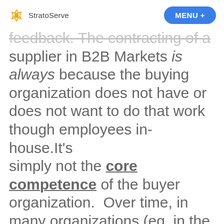StratoServe | MENU +
feedback. The contracting of a supplier in B2B Markets is always because the buying organization does not have or does not want to do that work though employees in-house.It's simply not the core competence of the buyer organization.  Over time, in many organizations (eg. in the auto industry) even the design and architectural knowledge